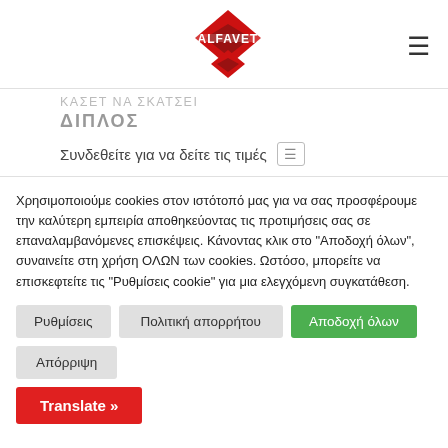[Figure (logo): ALFAVET logo — red diamond shape with ALFAVET text]
ΔΙΠΛΟΣ
Συνδεθείτε για να δείτε τις τιμές
Χρησιμοποιούμε cookies στον ιστότοπό μας για να σας προσφέρουμε την καλύτερη εμπειρία αποθηκεύοντας τις προτιμήσεις σας σε επαναλαμβανόμενες επισκέψεις. Κάνοντας κλικ στο "Αποδοχή όλων", συναινείτε στη χρήση ΟΛΩΝ των cookies. Ωστόσο, μπορείτε να επισκεφτείτε τις "Ρυθμίσεις cookie" για μια ελεγχόμενη συγκατάθεση.
Ρυθμίσεις
Πολιτική απορρήτου
Αποδοχή όλων
Απόρριψη
Translate »